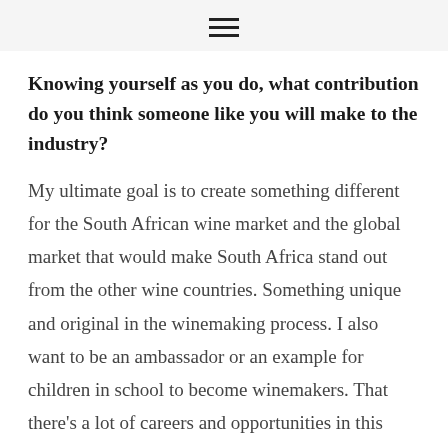≡
Knowing yourself as you do, what contribution do you think someone like you will make to the industry?
My ultimate goal is to create something different for the South African wine market and the global market that would make South Africa stand out from the other wine countries. Something unique and original in the winemaking process. I also want to be an ambassador or an example for children in school to become winemakers. That there's a lot of careers and opportunities in this industry and not just In the occupations of lawyers, doctors, engineers etc. I think